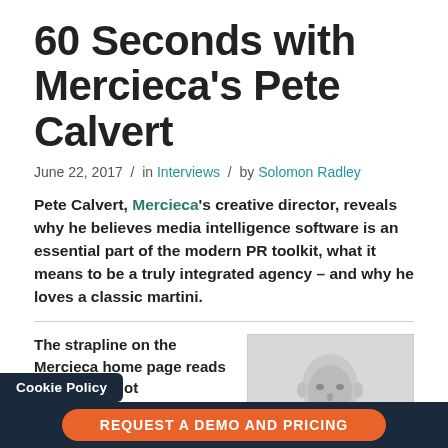60 Seconds with Mercieca's Pete Calvert
June 22, 2017 / in Interviews / by Solomon Radley
Pete Calvert, Mercieca's creative director, reveals why he believes media intelligence software is an essential part of the modern PR toolkit, what it means to be a truly integrated agency – and why he loves a classic martini.
The strapline on the Mercieca home page reads integrated, not
[Figure (photo): Black and white headshot photo of a bald man]
Cookie Policy
REQUEST A DEMO AND PRICING